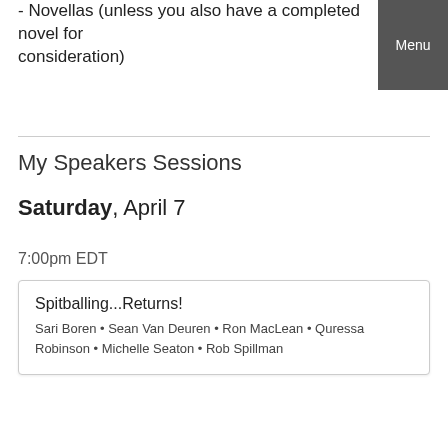- Novellas (unless you also have a completed novel for consideration)
My Speakers Sessions
Saturday, April 7
7:00pm EDT
| Spitballing...Returns! |
| Sari Boren • Sean Van Deuren • Ron MacLean • Quressa Robinson • Michelle Seaton • Rob Spillman |